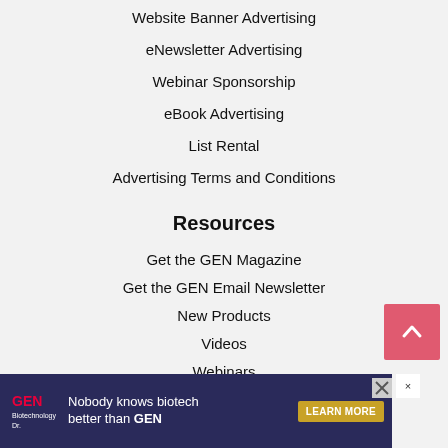Website Banner Advertising
eNewsletter Advertising
Webinar Sponsorship
eBook Advertising
List Rental
Advertising Terms and Conditions
Resources
Get the GEN Magazine
Get the GEN Email Newsletter
New Products
Videos
Webinars
[Figure (other): Back to top button - pink/salmon colored square button with upward pointing chevron arrow]
[Figure (other): Advertisement banner for GEN Biotechnology - dark navy blue background with GEN logo, text 'Nobody knows biotech better than GEN' and 'LEARN MORE' button, plus close X button]